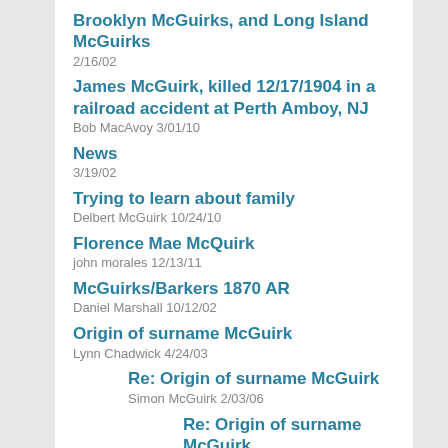Brooklyn McGuirks, and Long Island McGuirks
2/16/02
James McGuirk, killed 12/17/1904 in a railroad accident at Perth Amboy, NJ
Bob MacAvoy 3/01/10
News
3/19/02
Trying to learn about family
Delbert McGuirk 10/24/10
Florence Mae McQuirk
john morales 12/13/11
McGuirks/Barkers 1870 AR
Daniel Marshall 10/12/02
Origin of surname McGuirk
Lynn Chadwick 4/24/03
Re: Origin of surname McGuirk
Simon McGuirk 2/03/06
Re: Origin of surname McGuirk
Peter McGuirk 8/13/07
Re: Origin of surname McGuirk
LiamLiam Mac Cuirc 2/20/08
Change of address:
Denzelle Humble 5/12/03